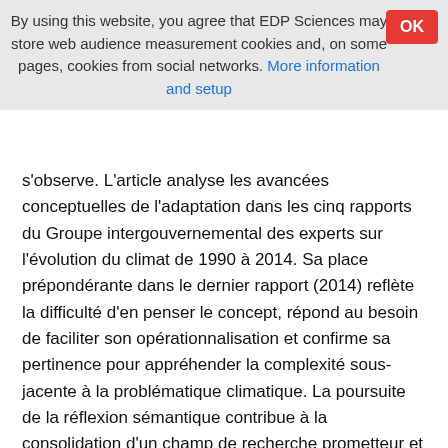By using this website, you agree that EDP Sciences may store web audience measurement cookies and, on some pages, cookies from social networks. More information and setup
s'observe. L'article analyse les avancées conceptuelles de l'adaptation dans les cinq rapports du Groupe intergouvernemental des experts sur l'évolution du climat de 1990 à 2014. Sa place prépondérante dans le dernier rapport (2014) reflète la difficulté d'en penser le concept, répond au besoin de faciliter son opérationnalisation et confirme sa pertinence pour appréhender la complexité sous-jacente à la problématique climatique. La poursuite de la réflexion sémantique contribue à la consolidation d'un champ de recherche prometteur et décloisonné.
Abstract
In the past decade, work on the concepts of vulnerability, resilience and adaptation became central in climate change literature. At the same time a growing number of studies have